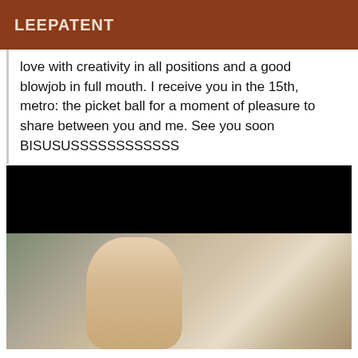LEEPATENT
love with creativity in all positions and a good blowjob in full mouth. I receive you in the 15th, metro: the picket ball for a moment of pleasure to share between you and me. See you soon BISUSUSSSSSSSSSSSS
[Figure (photo): A blonde woman in a pink dress posing indoors, upper portion of the image is blacked out]